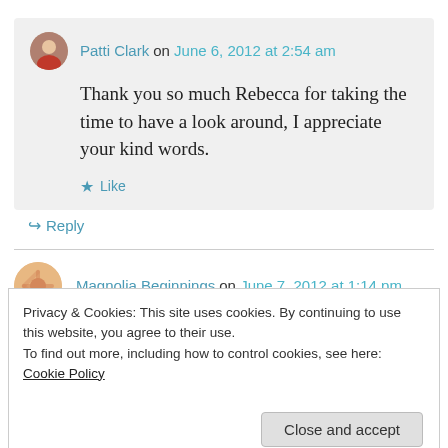Patti Clark on June 6, 2012 at 2:54 am
Thank you so much Rebecca for taking the time to have a look around, I appreciate your kind words.
Like
Reply
Magnolia Beginnings on June 7, 2012 at 1:14 pm
Privacy & Cookies: This site uses cookies. By continuing to use this website, you agree to their use.
To find out more, including how to control cookies, see here: Cookie Policy
Close and accept
the people that read mine. Keep sharing!